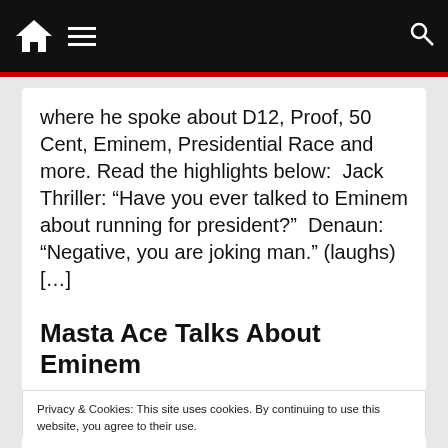Navigation bar with home icon, menu icon, and search icon
where he spoke about D12, Proof, 50 Cent, Eminem, Presidential Race and more. Read the highlights below:  Jack Thriller: “Have you ever talked to Eminem about running for president?”  Denaun: “Negative, you are joking man.” (laughs) […]
Masta Ace Talks About Eminem
Privacy & Cookies: This site uses cookies. By continuing to use this website, you agree to their use.
To find out more, including how to control cookies, see here: Cookie Policy
Close & Accept